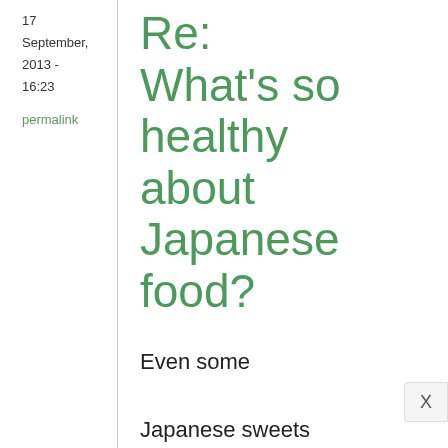17 September, 2013 - 16:23
permalink
Re: What's so healthy about Japanese food?
Even some Japanese sweets aren't as horrible, calorie- or carb-wise, as their